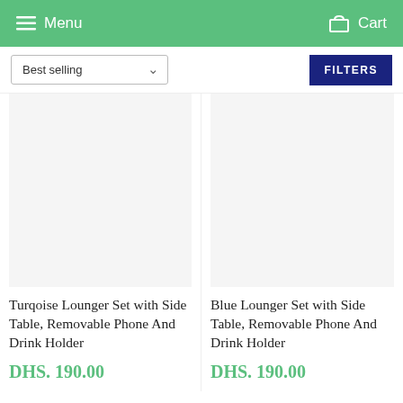Menu  Cart
Best selling  FILTERS
[Figure (photo): White/empty product image area for Turqoise Lounger Set]
Turqoise Lounger Set with Side Table, Removable Phone And Drink Holder
DHS. 190.00
[Figure (photo): White/empty product image area for Blue Lounger Set]
Blue Lounger Set with Side Table, Removable Phone And Drink Holder
DHS. 190.00